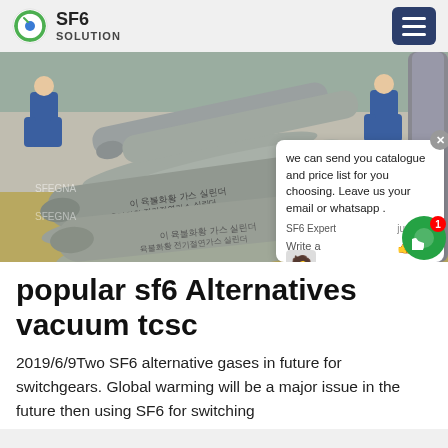SF6 SOLUTION
[Figure (photo): Two workers in blue uniforms handling large gray SF6 gas cylinders laid on the ground outdoors, with text/labels in Korean on the cylinders.]
we can send you catalogue and price list for you choosing. Leave us your email or whatsapp . SF6 Expert  just now  Write a
popular sf6 Alternatives vacuum tcsc
2019/6/9Two SF6 alternative gases in future for switchgears. Global warming will be a major issue in the future then using SF6 for switching